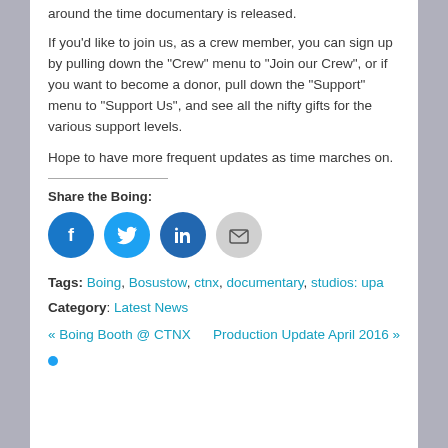around the time documentary is released.
If you'd like to join us, as a crew member, you can sign up by pulling down the "Crew" menu to "Join our Crew", or if you want to become a donor, pull down the "Support" menu to "Support Us", and see all the nifty gifts for the various support levels.
Hope to have more frequent updates as time marches on.
Share the Boing:
[Figure (infographic): Social sharing buttons: Facebook (blue circle), Twitter (blue circle), LinkedIn (blue circle), Email (grey circle)]
Tags: Boing, Bosustow, ctnx, documentary, studios: upa
Category: Latest News
« Boing Booth @ CTNX    Production Update April 2016 »